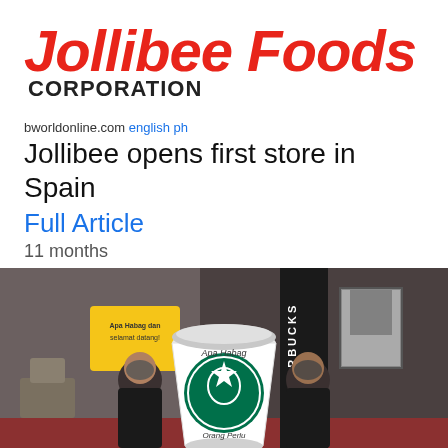[Figure (logo): Jollibee Foods Corporation logo in red italic text with black bold CORPORATION text below]
bworldonline.com english ph
Jollibee opens first store in Spain
Full Article
11 months
[Figure (photo): Photo of two Starbucks employees in black uniforms and face masks holding a large Starbucks cup prop with 'Apa Habag Orang Perlu' text and Starbucks logo inside a Starbucks store]